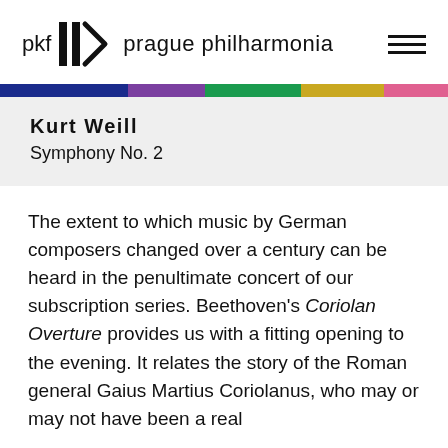pkf prague philharmonia
Kurt Weill
Symphony No. 2
The extent to which music by German composers changed over a century can be heard in the penultimate concert of our subscription series. Beethoven's Coriolan Overture provides us with a fitting opening to the evening. It relates the story of the Roman general Gaius Martius Coriolanus, who may or may not have been a real